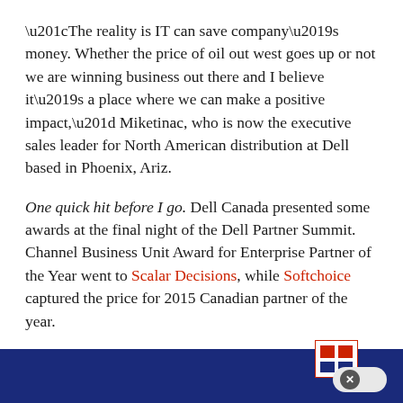“The reality is IT can save company’s money. Whether the price of oil out west goes up or not we are winning business out there and I believe it’s a place where we can make a positive impact,” Miketinac, who is now the executive sales leader for North American distribution at Dell based in Phoenix, Ariz.
One quick hit before I go. Dell Canada presented some awards at the final night of the Dell Partner Summit. Channel Business Unit Award for Enterprise Partner of the Year went to Scalar Decisions, while Softchoice captured the price for 2015 Canadian partner of the year.